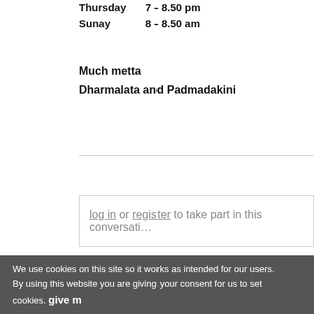Thursday   7 - 8.50 pm
Sunay   8 - 8.50 am
Much metta
Dharmalata and Padmadakini
log in or register to take part in this conversati…
show conversation
We use cookies on this site so it works as intended for our users.
By using this website you are giving your consent for us to set cookies. give m…